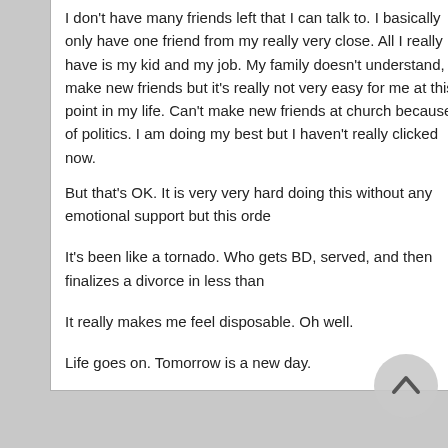I don't have many friends left that I can talk to. I basically only have one friend from my really very close. All I really have is my kid and my job. My family doesn't understand, a make new friends but it's really not very easy for me at this point in my life. Can't make new friends at church because of politics. I am doing my best but I haven't really clicked now.
But that's OK. It is very very hard doing this without any emotional support but this orde
It's been like a tornado. Who gets BD, served, and then finalizes a divorce in less than
It really makes me feel disposable. Oh well.
Life goes on. Tomorrow is a new day.
Re: New LBS dealing with WW (Part 5)
NicoleR
Member
Joe, I'll write more later but I wish there'd be a way we could be friends in real life beca
This all happened so fast for you but it also seems like your wife may not have thought and say "what have I done?" My guess, although I could be wrong, is that our spouses